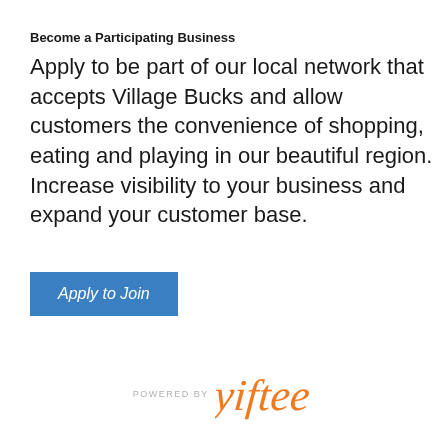Become a Participating Business
Apply to be part of our local network that accepts Village Bucks and allow customers the convenience of shopping, eating and playing in our beautiful region. Increase visibility to your business and expand your customer base.
[Figure (other): Blue button labeled 'Apply to Join']
[Figure (logo): Powered by Yiftee logo in orange script font]